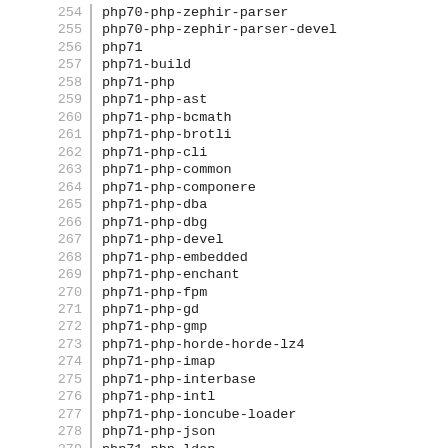254  php70-php-zephir-parser
255  php70-php-zephir-parser-devel
256  php71
257  php71-build
258  php71-php
259  php71-php-ast
260  php71-php-bcmath
261  php71-php-brotli
262  php71-php-cli
263  php71-php-common
264  php71-php-componere
265  php71-php-dba
266  php71-php-dbg
267  php71-php-devel
268  php71-php-embedded
269  php71-php-enchant
270  php71-php-fpm
271  php71-php-gd
272  php71-php-gmp
273  php71-php-horde-horde-lz4
274  php71-php-imap
275  php71-php-interbase
276  php71-php-intl
277  php71-php-ioncube-loader
278  php71-php-json
279  php71-php-ldap
280  php71-php-libvirt
281  php71-php-libvirt-doc
282  php71-php-litespeed
283  php71-php-lz4